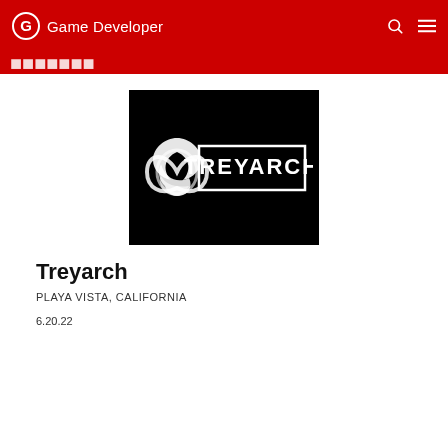Game Developer
[Figure (logo): Treyarch logo: white stylized trefoil knot symbol and TREYARCH text inside a white rectangle border, on a black background]
Treyarch
PLAYA VISTA, CALIFORNIA
6.20.22